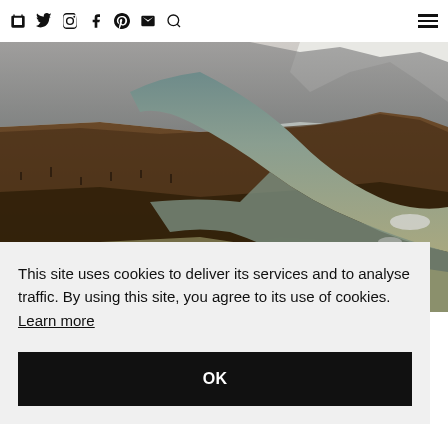Icons: bag, twitter, instagram, facebook, pinterest, email, search, hamburger menu
[Figure (photo): Aerial view of a mountainous landscape with forested slopes and a glacial river/lake winding through the terrain. Muted browns and teal-grey tones.]
This site uses cookies to deliver its services and to analyse traffic. By using this site, you agree to its use of cookies. Learn more
OK